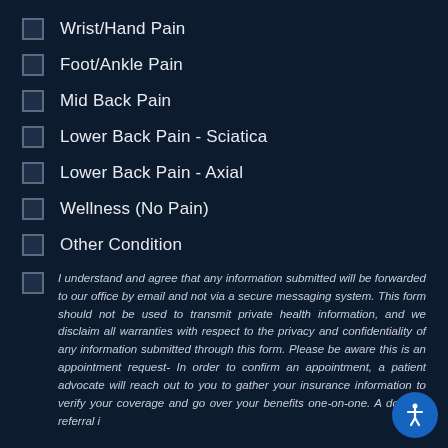Wrist/Hand Pain
Foot/Ankle Pain
Mid Back Pain
Lower Back Pain - Sciatica
Lower Back Pain - Axial
Wellness (No Pain)
Other Condition
I understand and agree that any information submitted will be forwarded to our office by email and not via a secure messaging system. This form should not be used to transmit private health information, and we disclaim all warranties with respect to the privacy and confidentiality of any information submitted through this form. Please be aware this is an appointment request- In order to confirm an appointment, a patient advocate will reach out to you to gather your insurance information to verify your coverage and go over your benefits one-on-one. A doctor's referral i...